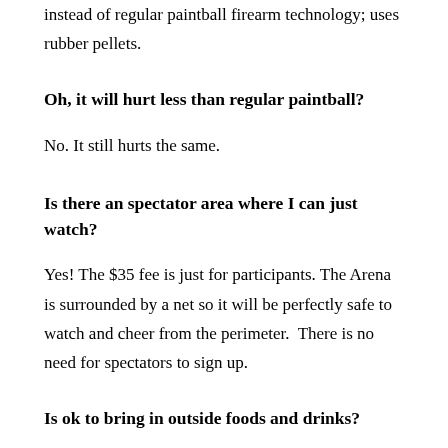instead of regular paintball firearm technology; uses rubber pellets.
Oh, it will hurt less than regular paintball?
No. It still hurts the same.
Is there an spectator area where I can just watch?
Yes! The $35 fee is just for participants. The Arena is surrounded by a net so it will be perfectly safe to watch and cheer from the perimeter.  There is no need for spectators to sign up.
Is ok to bring in outside foods and drinks?
It's fine to bring in cold foods and non-alcoholic drinks. Outside hot foods, unfortunately, are NOT